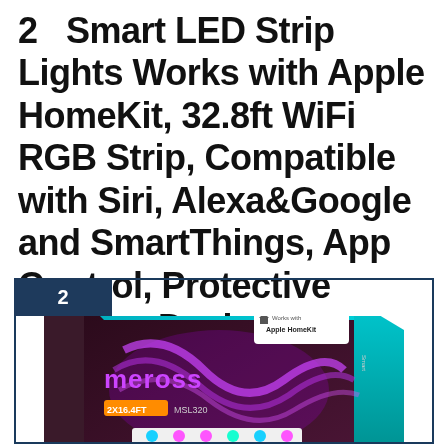2   Smart LED Strip Lights Works with Apple HomeKit, 32.8ft WiFi RGB Strip, Compatible with Siri, Alexa&Google and SmartThings, App Control, Protective Coating Design
[Figure (photo): Product listing card with dark navy border, number badge '2' in top-left corner, and photo of Meross brand LED strip light product box with purple/pink LED lights visible. Box features Apple HomeKit badge and '2X16.4FT MSL320' text.]